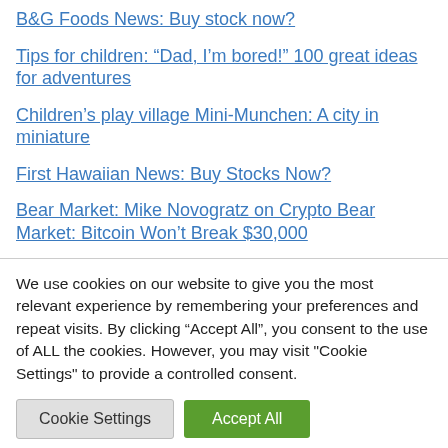B&G Foods News: Buy stock now?
Tips for children: “Dad, I’m bored!” 100 great ideas for adventures
Children’s play village Mini-Munchen: A city in miniature
First Hawaiian News: Buy Stocks Now?
Bear Market: Mike Novogratz on Crypto Bear Market: Bitcoin Won’t Break $30,000
We use cookies on our website to give you the most relevant experience by remembering your preferences and repeat visits. By clicking “Accept All”, you consent to the use of ALL the cookies. However, you may visit "Cookie Settings" to provide a controlled consent.